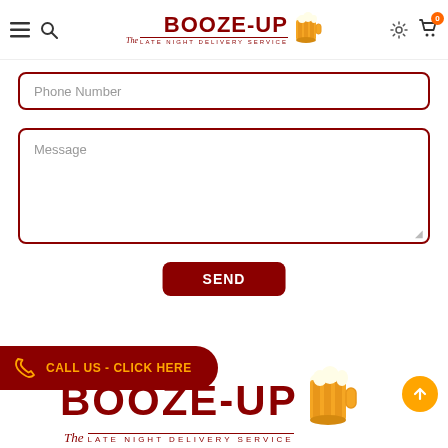BOOZE-UP The Late Night Delivery Service — navigation header with hamburger, search, logo, gear, and cart icons
Phone Number
Message
SEND
[Figure (logo): BOOZE-UP The Late Night Delivery Service logo with beer mug graphic]
CALL US - CLICK HERE